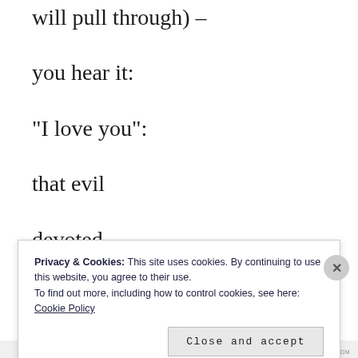will pull through) –
you hear it:
“I love you”:
that evil
devoted
inspired
Privacy & Cookies: This site uses cookies. By continuing to use this website, you agree to their use.
To find out more, including how to control cookies, see here: Cookie Policy
Close and accept